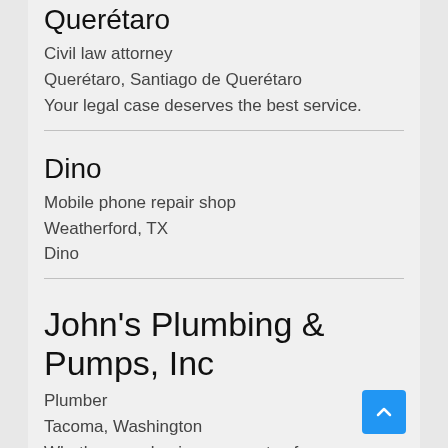Querétaro
Civil law attorney
Querétaro, Santiago de Querétaro
Your legal case deserves the best service.
Dino
Mobile phone repair shop
Weatherford, TX
Dino
John's Plumbing & Pumps, Inc
Plumber
Tacoma, Washington
Whether your business operates from one